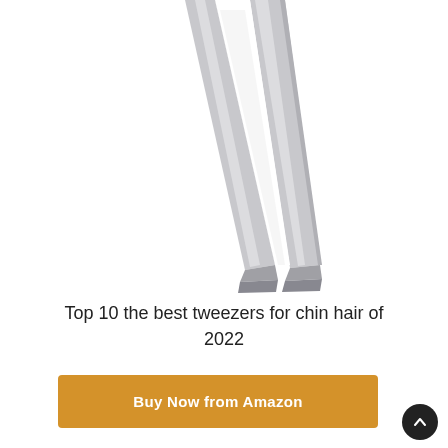[Figure (photo): Close-up photo of silver/grey metal tweezers with flat slanted tips, shown from above on a white background. The tweezers are open, showing both arms diverging upward.]
Top 10 the best tweezers for chin hair of 2022
Buy Now from Amazon